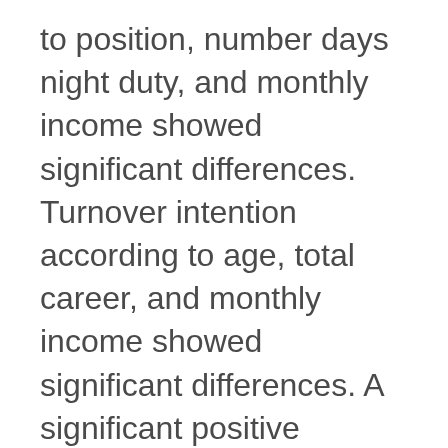to position, number days night duty, and monthly income showed significant differences. Turnover intention according to age, total career, and monthly income showed significant differences. A significant positive correlation was found between job characteristics and organizational commitment. Significant